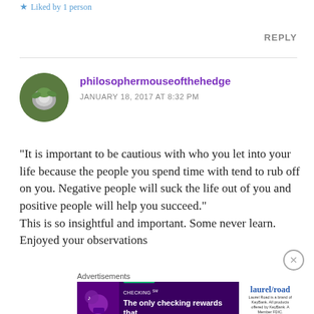★ Liked by 1 person
REPLY
philosophermouseofthehedge
JANUARY 18, 2017 AT 8:32 PM
“It is important to be cautious with who you let into your life because the people you spend time with tend to rub off on you. Negative people will suck the life out of you and positive people will help you succeed.” This is so insightful and important. Some never learn. Enjoyed your observations
Advertisements
[Figure (screenshot): Laurel Road Loyalty Checking advertisement banner: '+NURSES LAUREL ROAD LOYALTY CHECKING SM' with tagline 'The only checking rewards that pay you when you get paid.' and Laurel Road logo on the right.]